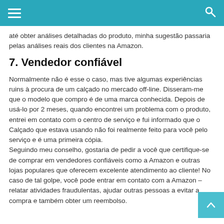≡  [search icon]
até obter análises detalhadas do produto, minha sugestão passaria pelas análises reais dos clientes na Amazon.
7. Vendedor confiável
Normalmente não é esse o caso, mas tive algumas experiências ruins à procura de um calçado no mercado off-line. Disseram-me que o modelo que compro é de uma marca conhecida. Depois de usá-lo por 2 meses, quando encontrei um problema com o produto, entrei em contato com o centro de serviço e fui informado que o Calçado que estava usando não foi realmente feito para você pelo serviço e é uma primeira cópia. Seguindo meu conselho, gostaria de pedir a você que certifique-se de comprar em vendedores confiáveis como a Amazon e outras lojas populares que oferecem excelente atendimento ao cliente! No caso de tal golpe, você pode entrar em contato com a Amazon – relatar atividades fraudulentas, ajudar outras pessoas a evitar a compra e também obter um reembolso.